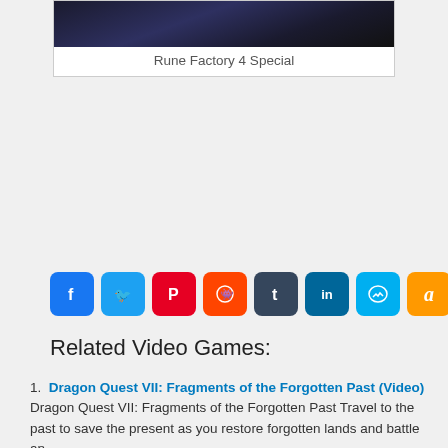[Figure (photo): Game cover art for Rune Factory 4 Special showing a character in dark armor]
Rune Factory 4 Special
[Figure (infographic): Social media share buttons: Facebook, Twitter, Pinterest, Reddit, Tumblr, LinkedIn, Messenger, Amazon, More]
Related Video Games:
Dragon Quest VII: Fragments of the Forgotten Past (Video) Dragon Quest VII: Fragments of the Forgotten Past Travel to the past to save the present as you restore forgotten lands and battle an .......
Dragon Quest Heroes Dragon Quest Heroes is an action-based RPG from the makers of Dynasty Warriors, set in the magical world of Dragon Quest. In the peaceful .......
Dragon Quest Monsters: Joker 2 Dragon Quest